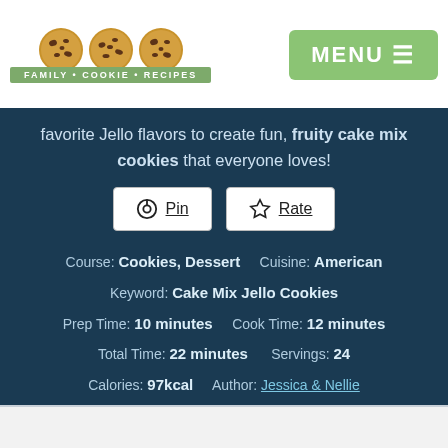FAMILY • COOKIE • RECIPES | MENU
favorite Jello flavors to create fun, fruity cake mix cookies that everyone loves!
Pin | Rate
Course: Cookies, Dessert   Cuisine: American
Keyword: Cake Mix Jello Cookies
Prep Time: 10 minutes   Cook Time: 12 minutes
Total Time: 22 minutes   Servings: 24
Calories: 97kcal   Author: Jessica & Nellie
[Figure (screenshot): Selkirk advertisement banner with logo and player image]